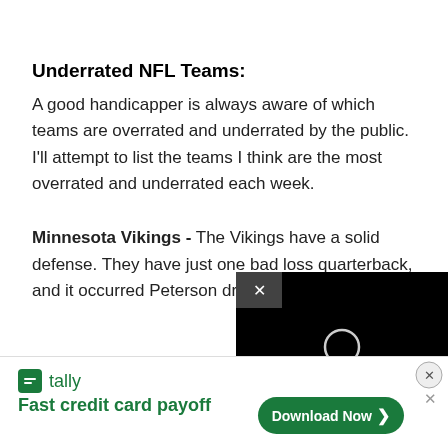Underrated NFL Teams:
A good handicapper is always aware of which teams are overrated and underrated by the public. I'll attempt to list the teams I think are the most overrated and underrated each week.
Minnesota Vikings - The Vikings have a solid defense. They have just one bad loss quarterback, and it occurred Peterson drama.
[Figure (screenshot): Video player overlay (black background with circular loading/play icon) with an X close button in the top-left corner of the overlay]
[Figure (screenshot): Advertisement banner for Tally app - Fast credit card payoff, with Download Now button and close X buttons]